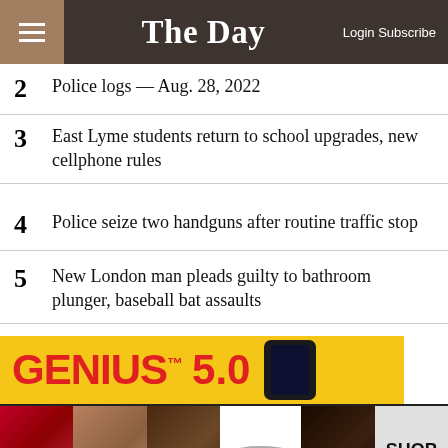The Day — Login Subscribe
2  Police logs — Aug. 28, 2022
3  East Lyme students return to school upgrades, new cellphone rules
4  Police seize two handguns after routine traffic stop
5  New London man pleads guilty to bathroom plunger, baseball bat assaults
[Figure (screenshot): GENIUS 5.0 advertisement banner with yellow background, red bold text, and a black smartphone graphic]
[Figure (screenshot): Ulta Beauty advertisement banner showing makeup/cosmetics imagery with lip, brush, eye, Ulta logo, eye, and SHOP NOW]